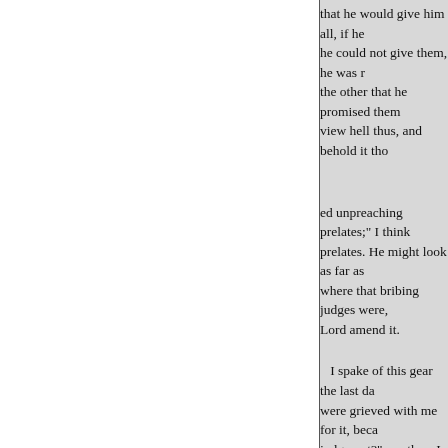that he would give him all, if he could not give them, he was r the other that he promised them view hell thus, and behold it tho
ed unpreaching prelates;" I think prelates. He might look as far as where that bribing judges were, Lord amend it.
I spake of this gear the last da were grieved with me for it, beca judgment?" say they. I went abou did, and I can say much more no did know before. O, say they, Th just quarrel. I will go further wit to have heard it; and now God ha be saved
*This is an allusion to the case recently been attainted of high tr Tower Hill.